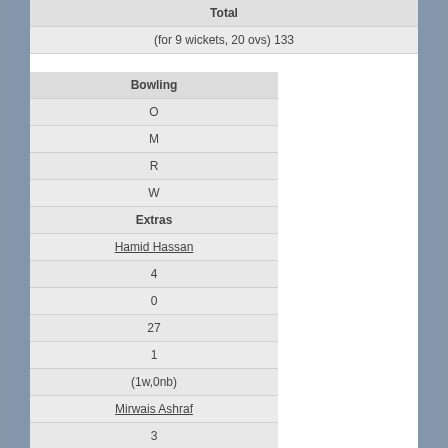| Total |
| --- |
| (for 9 wickets, 20 ovs) 133 |
| Bowling |
| --- |
| O |
| M |
| R |
| W |
| Extras |
| Hamid Hassan |
| 4 |
| 0 |
| 27 |
| 1 |
| (1w,0nb) |
| Mirwais Ashraf |
| 3 |
| 0 |